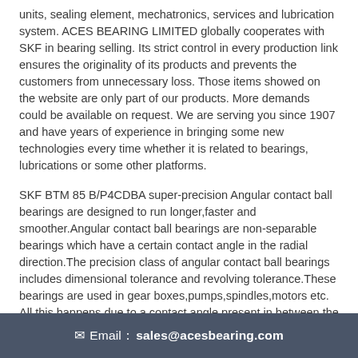units, sealing element, mechatronics, services and lubrication system. ACES BEARING LIMITED globally cooperates with SKF in bearing selling. Its strict control in every production link ensures the originality of its products and prevents the customers from unnecessary loss. Those items showed on the website are only part of our products. More demands could be available on request. We are serving you since 1907 and have years of experience in bringing some new technologies every time whether it is related to bearings, lubrications or some other platforms.
SKF BTM 85 B/P4CDBA super-precision Angular contact ball bearings are designed to run longer,faster and smoother.Angular contact ball bearings are non-separable bearings which have a certain contact angle in the radial direction.The precision class of angular contact ball bearings includes dimensional tolerance and revolving tolerance.These bearings are used in gear boxes,pumps,spindles,motors etc. All this happens due to a contact angle present in between the bearings. When a radial load is applied on the bearing, an
✉ Email： sales@acesbearing.com